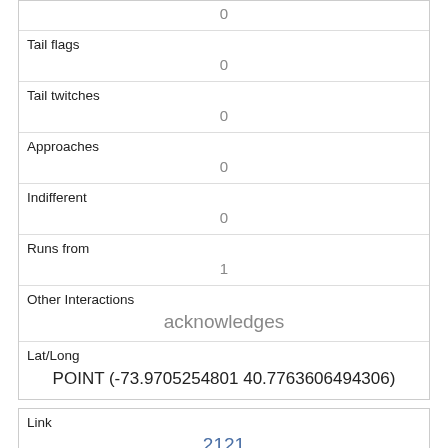| Tail flags | 0 |
| Tail twitches | 0 |
| Approaches | 0 |
| Indifferent | 0 |
| Runs from | 1 |
| Other Interactions | acknowledges |
| Lat/Long | POINT (-73.9705254801 40.7763606494306) |
| Link | 2121 |
| rowid | 2121 |
| longitude |  |